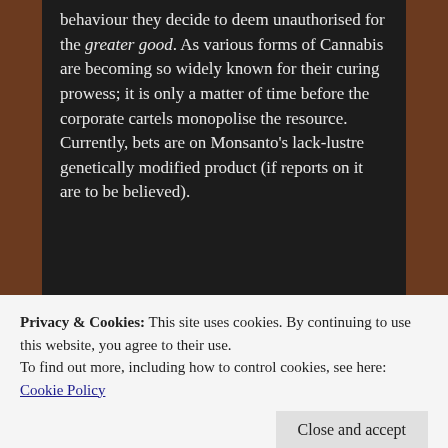behaviour they decide to deem unauthorised for the greater good. As various forms of Cannabis are becoming so widely known for their curing prowess; it is only a matter of time before the corporate cartels monopolise the resource. Currently, bets are on Monsanto's lack-lustre genetically modified product (if reports on it are to be believed).
[Figure (other): Longreads advertisement banner. Red background with white bordered box. Text reads: 'The best stories on the web – ours, and everyone else's.' with Longreads logo at top.]
Privacy & Cookies: This site uses cookies. By continuing to use this website, you agree to their use.
To find out more, including how to control cookies, see here:
Cookie Policy